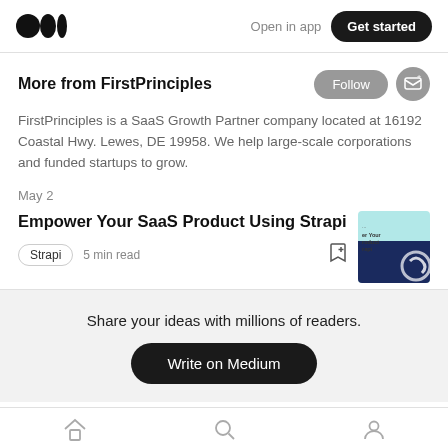Open in app   Get started
More from FirstPrinciples
FirstPrinciples is a SaaS Growth Partner company located at 16192 Coastal Hwy. Lewes, DE 19958. We help large-scale corporations and funded startups to grow.
May 2
Empower Your SaaS Product Using Strapi
[Figure (screenshot): Article thumbnail showing teal/navy card for Strapi article]
Strapi   5 min read
Share your ideas with millions of readers.
Write on Medium
Home  Search  Profile